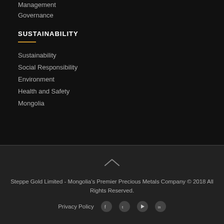Management
Governance
SUSTAINABILITY
Sustainability
Social Responsibility
Environment
Health and Safety
Mongolia
Steppe Gold Limited - Mongolia's Premier Precious Metals Company © 2018 All Rights Reserved.
Privacy Policy